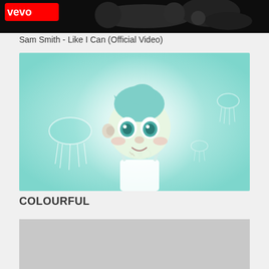[Figure (screenshot): Top portion of a YouTube music video thumbnail showing Vevo logo and dark concert/music video imagery for Sam Smith - Like I Can (Official Video)]
Sam Smith - Like I Can (Official Video)
[Figure (illustration): Animated cartoon illustration showing a cute anime-style character with teal/mint colored hair and big eyes, wearing a white apron, surrounded by illustrated jellyfish on a light teal/aqua background with a glowing white circle behind the character]
COLOURFUL
[Figure (screenshot): Bottom portion showing a gray/silver placeholder image area, partially visible]